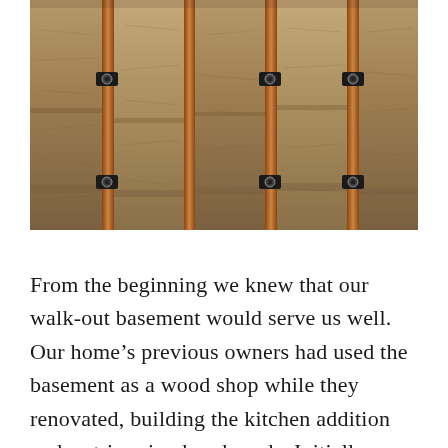[Figure (photo): Overhead view of house wall framing with fiberglass batt insulation between wooden studs, and black wire clips attached to the studs.]
From the beginning we knew that our walk-out basement would serve us well. Our home's previous owners had used the basement as a wood shop while they renovated, building the kitchen addition and re-trimming baseboards. Initially we fantasized about